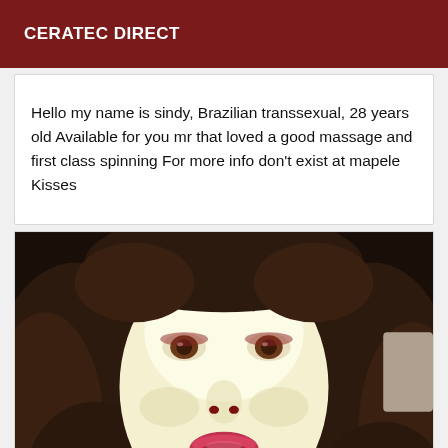CERATEC DIRECT
Hello my name is sindy, Brazilian transsexual, 28 years old Available for you mr that loved a good massage and first class spinning For more info don't exist at mapele Kisses
[Figure (photo): Close-up portrait photo of a person with long dark wavy hair, pale face with red lips and brown eyes, looking directly at camera.]